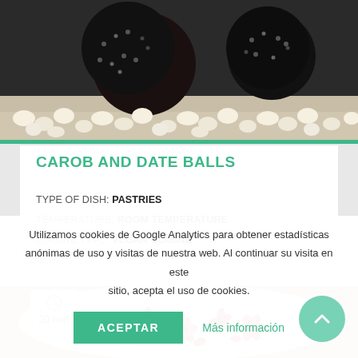[Figure (photo): Close-up photo of dark chocolate carob balls coated in black sesame seeds or similar coating, surrounded by white popcorn on a light surface]
CAROB AND DATE BALLS
TYPE OF DISH: PASTRIES
TEMPERATURE: ROOM TEMPERATURE
CUISINE TYPE: VEGAN CUISINE
[Figure (photo): Food photo showing a white plate with red flower garnishes/decorations on a wooden background, with a timer badge showing 20 min]
Utilizamos cookies de Google Analytics para obtener estadísticas anónimas de uso y visitas de nuestra web. Al continuar su visita en este sitio, acepta el uso de cookies.
ACEPTAR    Más información